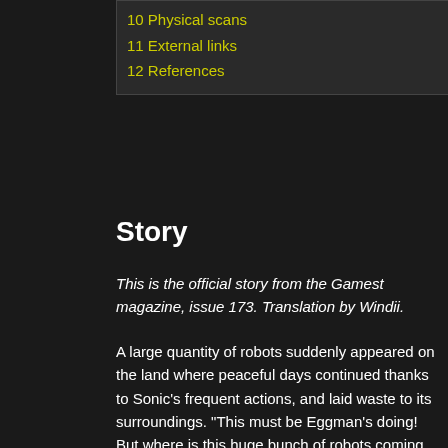10 Physical scans
11 External links
12 References
Story
This is the official story from the Gamest magazine, issue 173. Translation by Windii.
A large quantity of robots suddenly appeared on the land where peaceful days continued thanks to Sonic's frequent actions, and laid waste to its surroundings. "This must be Eggman's doing! But where is this huge bunch of robots coming from..." as Tails muttered to himself, he got an emergency message from Espio.
In the video that Espio sent, there was a huge fortress floating on the satellite orbit. Dr. Eggman was dispatching large quantities of robots from the giant space fortress, "Death Egg 2"!